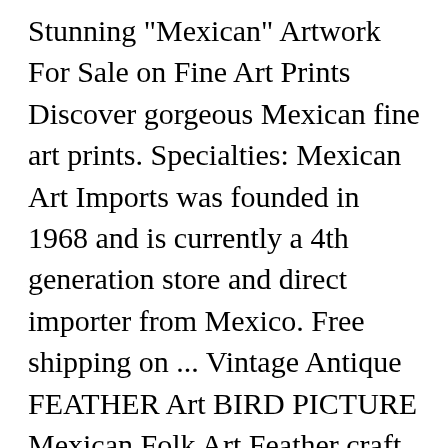Stunning "Mexican" Artwork For Sale on Fine Art Prints Discover gorgeous Mexican fine art prints. Specialties: Mexican Art Imports was founded in 1968 and is currently a 4th generation store and direct importer from Mexico. Free shipping on ... Vintage Antique FEATHER Art BIRD PICTURE Mexican Folk Art Feather craft Framed. GBP (£) Peppers! $7.76 shipping. Mexican Ceramics Multi Panel Canvas Wall Art will spice up your decor with Mexican essence. Each museum-quality mexican woman framed print may be customized with hundreds of different frame and mat options. Eternal Newlyweds, Wedding Themed Day of the Dead Wall Art ... AUD ($) Estimate $10 - $1,000 Nov 11, 2020. All or Best